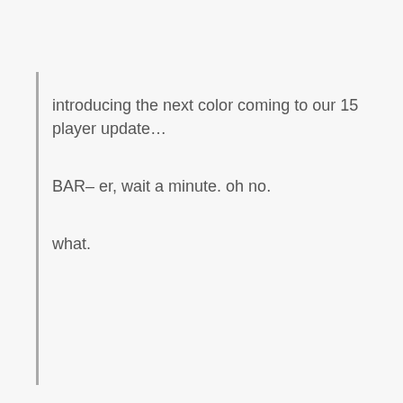introducing the next color coming to our 15 player update…
BAR– er, wait a minute. oh no.
what.